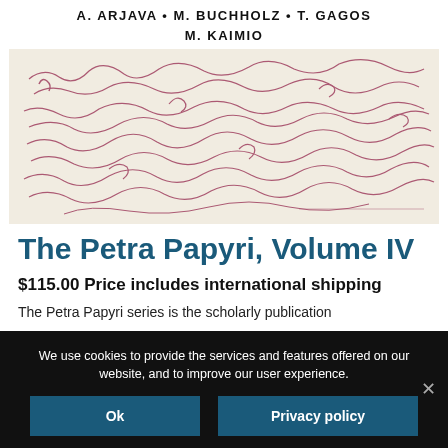A. ARJAVA • M. BUCHHOLZ • T. GAGOS
M. KAIMIO
[Figure (photo): Scanned image of ancient papyrus manuscript with handwritten cursive text in reddish-brown ink on a yellowish background]
The Petra Papyri, Volume IV
$115.00 Price includes international shipping
The Petra Papyri series is the scholarly publication
We use cookies to provide the services and features offered on our website, and to improve our user experience.